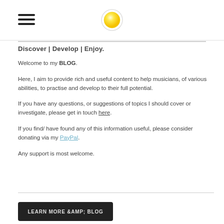Discover | Develop | Enjoy.
Welcome to my BLOG.
Here, I aim to provide rich and useful content to help musicians, of various abilities, to practise and develop to their full potential.
If you have any questions, or suggestions of topics I should cover or investigate, please get in touch here.
If you find/ have found any of this information useful, please consider donating via my PayPal.
Any support is most welcome.